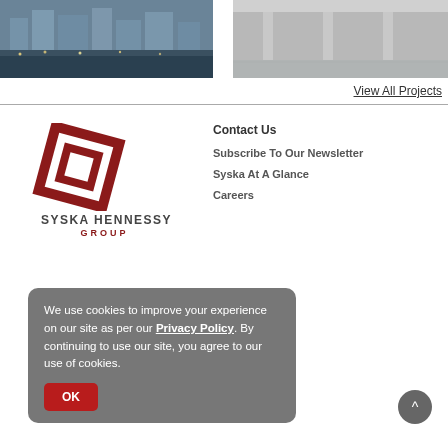[Figure (photo): Two project photos side by side: left shows an urban plaza with city buildings lit at night, right shows an indoor architectural space with reflective floor and columns]
View All Projects
[Figure (logo): Syska Hennessy Group logo: red diamond/square geometric mark above the text SYSKA HENNESSY GROUP]
Contact Us
Subscribe To Our Newsletter
Syska At A Glance
Careers
We use cookies to improve your experience on our site as per our Privacy Policy. By continuing to use our site, you agree to our use of cookies.